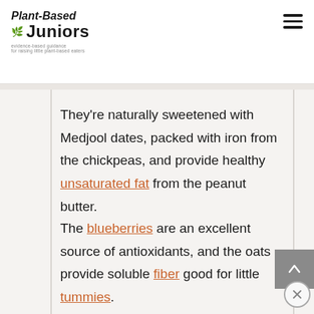Plant-Based Juniors
They’re naturally sweetened with Medjool dates, packed with iron from the chickpeas, and provide healthy unsaturated fat from the peanut butter.
The blueberries are an excellent source of antioxidants, and the oats provide soluble fiber good for little tummies.